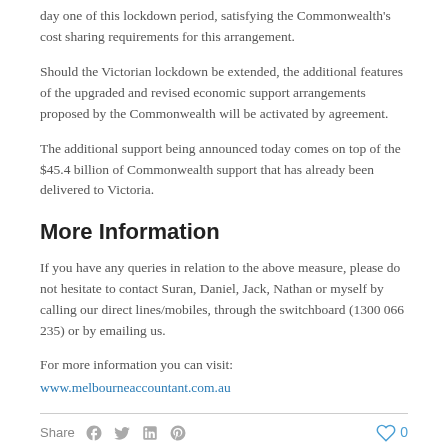day one of this lockdown period, satisfying the Commonwealth's cost sharing requirements for this arrangement.
Should the Victorian lockdown be extended, the additional features of the upgraded and revised economic support arrangements proposed by the Commonwealth will be activated by agreement.
The additional support being announced today comes on top of the $45.4 billion of Commonwealth support that has already been delivered to Victoria.
More Information
If you have any queries in relation to the above measure, please do not hesitate to contact Suran, Daniel, Jack, Nathan or myself by calling our direct lines/mobiles, through the switchboard (1300 066 235) or by emailing us.
For more information you can visit:
www.melbourneaccountant.com.au
Share  0